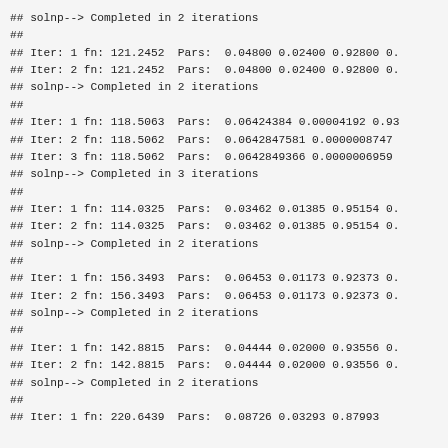## solnp--> Completed in 2 iterations
##
## Iter: 1 fn: 121.2452  Pars:  0.04800 0.02400 0.92800 0.
## Iter: 2 fn: 121.2452  Pars:  0.04800 0.02400 0.92800 0.
## solnp--> Completed in 2 iterations
##
## Iter: 1 fn: 118.5063  Pars:  0.06424384 0.00004192 0.93
## Iter: 2 fn: 118.5062  Pars:  0.0642847581 0.0000008747
## Iter: 3 fn: 118.5062  Pars:  0.0642849366 0.0000006959
## solnp--> Completed in 3 iterations
##
## Iter: 1 fn: 114.0325  Pars:  0.03462 0.01385 0.95154 0.
## Iter: 2 fn: 114.0325  Pars:  0.03462 0.01385 0.95154 0.
## solnp--> Completed in 2 iterations
##
## Iter: 1 fn: 156.3493  Pars:  0.06453 0.01173 0.92373 0.
## Iter: 2 fn: 156.3493  Pars:  0.06453 0.01173 0.92373 0.
## solnp--> Completed in 2 iterations
##
## Iter: 1 fn: 142.8815  Pars:  0.04444 0.02000 0.93556 0.
## Iter: 2 fn: 142.8815  Pars:  0.04444 0.02000 0.93556 0.
## solnp--> Completed in 2 iterations
##
## Iter: 1 fn: 220.6439  Pars:  0.08726 0.03293 0.87993